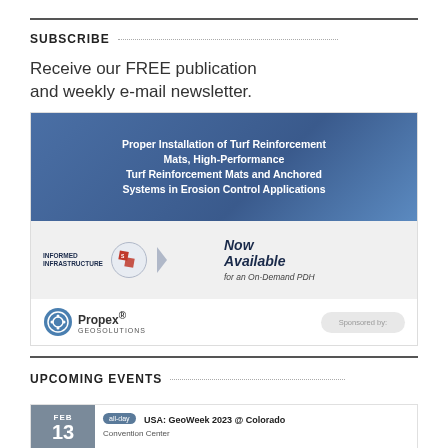SUBSCRIBE
Receive our FREE publication and weekly e-mail newsletter.
[Figure (infographic): Advertisement for 'Proper Installation of Turf Reinforcement Mats, High-Performance Turf Reinforcement Mats and Anchored Systems in Erosion Control Applications' - Now Available for an On-Demand PDH. Sponsored by Propex Geosolutions. Logos for Informed Infrastructure and another organization shown.]
UPCOMING EVENTS
FEB 13 all-day USA: GeoWeek 2023 @ Colorado Convention Center